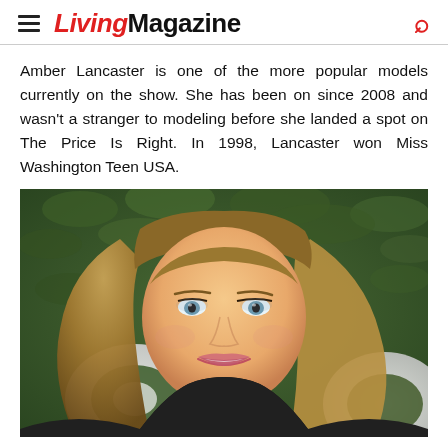LivingMagazine
Amber Lancaster is one of the more popular models currently on the show. She has been on since 2008 and wasn't a stranger to modeling before she landed a spot on The Price Is Right. In 1998, Lancaster won Miss Washington Teen USA.
[Figure (photo): Portrait photo of a smiling blonde woman with long wavy hair, wearing a dark outfit, standing in front of green foliage with partial CBS logo visible in the background.]